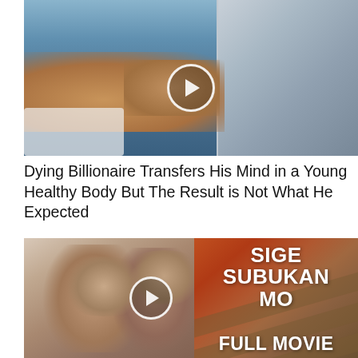[Figure (photo): Photo of a shirtless man lying on a medical/lab table with equipment in the background, with a play button overlay]
Dying Billionaire Transfers His Mind in a Young Healthy Body But The Result is Not What He Expected
[Figure (photo): Composite image: left side shows two people (a man and woman) smiling/embracing in a vintage photo style; right side shows text 'SIGE SUBUKAN MO FULL MOVIE' on a diagonal striped background with a play button overlay]